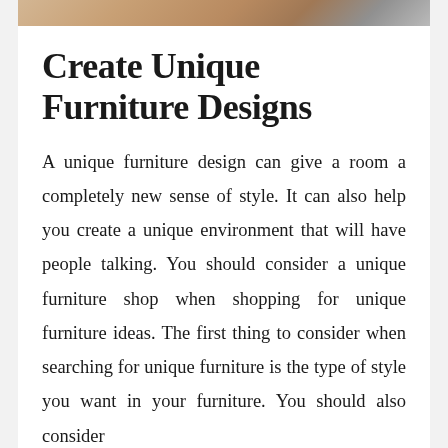[Figure (photo): Partial photo strip at top of page showing furniture or room interior]
Create Unique Furniture Designs
A unique furniture design can give a room a completely new sense of style. It can also help you create a unique environment that will have people talking. You should consider a unique furniture shop when shopping for unique furniture ideas. The first thing to consider when searching for unique furniture is the type of style you want in your furniture. You should also consider